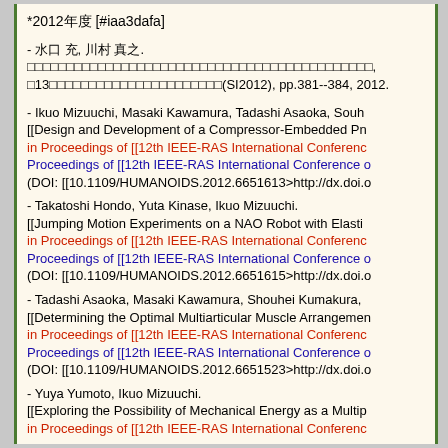*2012年度 [#iaa3dafa]
- 水口 充, 川村 真之. [Japanese text], 第13回[Japanese text](SI2012), pp.381--384, 2012.
- Ikuo Mizuuchi, Masaki Kawamura, Tadashi Asaoka, Shouhei... [[Design and Development of a Compressor-Embedded Pn... in Proceedings of [[12th IEEE-RAS International Conference... (DOI: [[10.1109/HUMANOIDS.2012.6651613>http://dx.doi.o...
- Takatoshi Hondo, Yuta Kinase, Ikuo Mizuuchi. [[Jumping Motion Experiments on a NAO Robot with Elasti... in Proceedings of [[12th IEEE-RAS International Conference... (DOI: [[10.1109/HUMANOIDS.2012.6651615>http://dx.doi.o...
- Tadashi Asaoka, Masaki Kawamura, Shouhei Kumakura,... [[Determining the Optimal Multiarticular Muscle Arrangemen... in Proceedings of [[12th IEEE-RAS International Conference... (DOI: [[10.1109/HUMANOIDS.2012.6651523>http://dx.doi.o...
- Yuya Yumoto, Ikuo Mizuuchi. [[Exploring the Possibility of Mechanical Energy as a Multip... in Proceedings of [[12th IEEE-RAS International Conference...